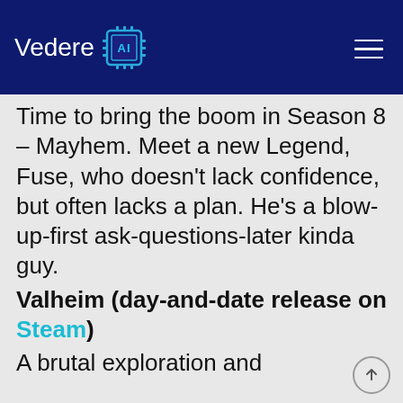Vedere AI
Time to bring the boom in Season 8 – Mayhem. Meet a new Legend, Fuse, who doesn't lack confidence, but often lacks a plan. He's a blow-up-first ask-questions-later kinda guy. Valheim (day-and-date release on Steam) A brutal exploration and
[Figure (other): Scroll-to-top button with upward arrow icon]